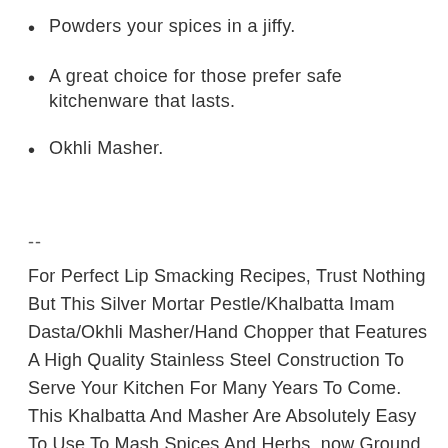Powders your spices in a jiffy.
A great choice for those prefer safe kitchenware that lasts.
Okhli Masher.
--
For Perfect Lip Smacking Recipes, Trust Nothing But This Silver Mortar Pestle/Khalbatta Imam Dasta/Okhli Masher/Hand Chopper that Features A High Quality Stainless Steel Construction To Serve Your Kitchen For Many Years To Come. This Khalbatta And Masher Are Absolutely Easy To Use To Mash Spices And Herbs. now Ground Fresh Spices At Home Just Before Cooking Easily. bring Out The Aromatic Flavor Of Spices By Freshly Grinding Them. it Is A Known Fact That The